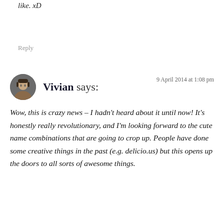like. xD
Reply
Vivian says:
9 April 2014 at 1:08 pm
Wow, this is crazy news – I hadn't heard about it until now! It's honestly really revolutionary, and I'm looking forward to the cute name combinations that are going to crop up. People have done some creative things in the past (e.g. delicio.us) but this opens up the doors to all sorts of awesome things.